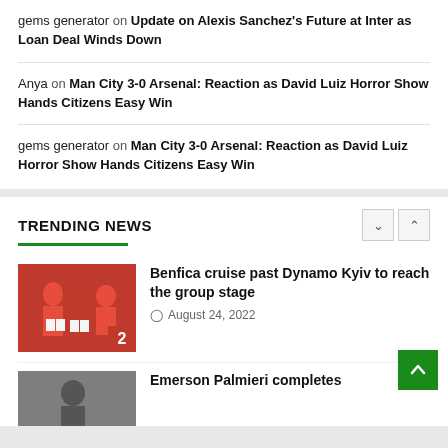gems generator on Update on Alexis Sanchez's Future at Inter as Loan Deal Winds Down
Anya on Man City 3-0 Arsenal: Reaction as David Luiz Horror Show Hands Citizens Easy Win
gems generator on Man City 3-0 Arsenal: Reaction as David Luiz Horror Show Hands Citizens Easy Win
TRENDING NEWS
[Figure (photo): Benfica football players in red jerseys celebrating, number 2 badge overlay]
Benfica cruise past Dynamo Kyiv to reach the group stage
August 24, 2022
Emerson Palmieri completes